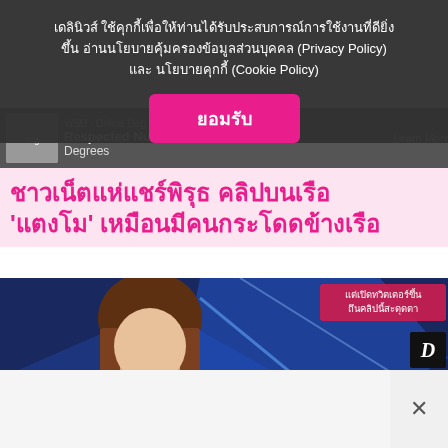เดลินิวส์ ใช้คุกกี้เพื่อให้ท่านได้รับประสบการณ์การใช้งานที่ดียิ่งขึ้น อ่านนโยบายคุ้มครองข้อมูลส่วนบุคคล (Privacy Policy) และ นโยบายคุกกี้ (Cookie Policy)
ยอมรับ
[Figure (screenshot): Advertisement banner with thumbnail and text about nursing degrees]
ชาวเน็ตแห่แชร์พิรุธ คลิปบนเรือ 'แตงโม' เหมือนมีคนกระโดดข้างเรือ
[Figure (screenshot): Thai woman on TV show with overlay text in Thai: แต่เปิดทวิตเตอร์ขึ้น ถึนคลิปนี้สะดุดตา and ใช่ ใช่ไหม???? with D logo]
[Figure (screenshot): Bottom section with close X button]